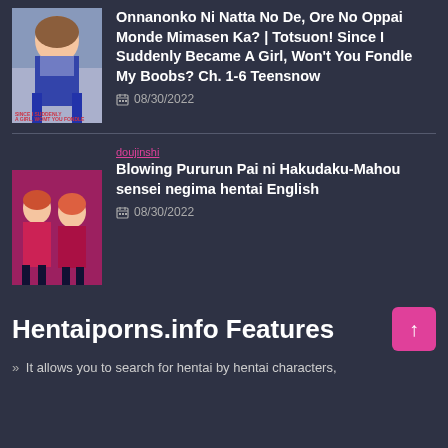[Figure (illustration): Manga/anime style illustration of a girl in school uniform]
Onnanonko Ni Natta No De, Ore No Oppai Monde Mimasen Ka? | Totsuon! Since I Suddenly Became A Girl, Won't You Fondle My Boobs? Ch. 1-6 Teensnow
08/30/2022
doujinshi
[Figure (illustration): Manga/anime style illustration of multiple girls in red outfits]
Blowing Pururun Pai ni Hakudaku-Mahou sensei negima hentai English
08/30/2022
Hentaiporns.info Features
» It allows you to search for hentai by hentai characters,